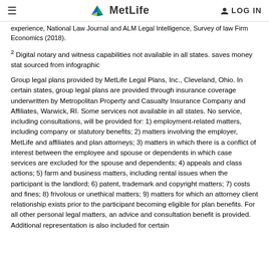MetLife | LOG IN
experience, National Law Journal and ALM Legal Intelligence, Survey of law Firm Economics (2018).
2 Digital notary and witness capabilities not available in all states. saves money stat sourced from infographic
Group legal plans provided by MetLife Legal Plans, Inc., Cleveland, Ohio. In certain states, group legal plans are provided through insurance coverage underwritten by Metropolitan Property and Casualty Insurance Company and Affiliates, Warwick, RI. Some services not available in all states. No service, including consultations, will be provided for: 1) employment-related matters, including company or statutory benefits; 2) matters involving the employer, MetLife and affiliates and plan attorneys; 3) matters in which there is a conflict of interest between the employee and spouse or dependents in which case services are excluded for the spouse and dependents; 4) appeals and class actions; 5) farm and business matters, including rental issues when the participant is the landlord; 6) patent, trademark and copyright matters; 7) costs and fines; 8) frivolous or unethical matters; 9) matters for which an attorney client relationship exists prior to the participant becoming eligible for plan benefits. For all other personal legal matters, an advice and consultation benefit is provided. Additional representation is also included for certain